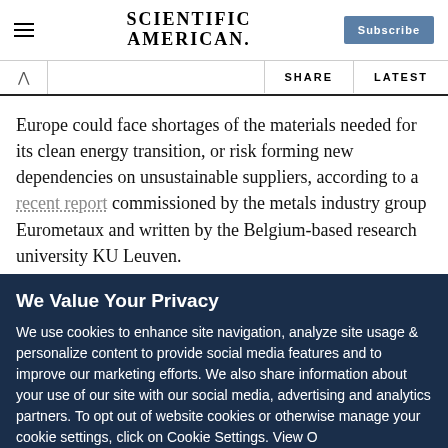Scientific American — Subscribe
SHARE   LATEST
Europe could face shortages of the materials needed for its clean energy transition, or risk forming new dependencies on unsustainable suppliers, according to a recent report commissioned by the metals industry group Eurometaux and written by the Belgium-based research university KU Leuven.
Sign up for Scientific American's
We Value Your Privacy
We use cookies to enhance site navigation, analyze site usage & personalize content to provide social media features and to improve our marketing efforts. We also share information about your use of our site with our social media, advertising and analytics partners. To opt out of website cookies or otherwise manage your cookie settings, click on Cookie Settings. View O